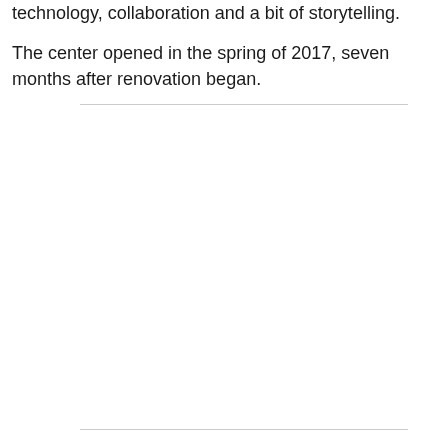technology, collaboration and a bit of storytelling.
The center opened in the spring of 2017, seven months after renovation began.